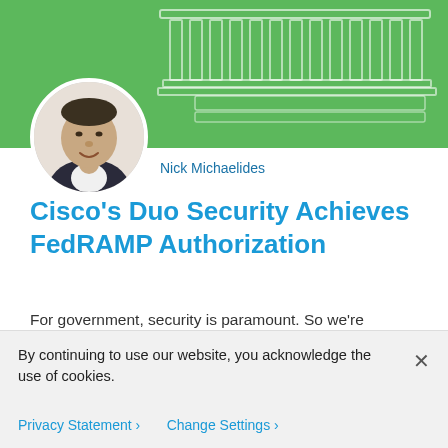[Figure (illustration): Green banner header with decorative white building/government columns illustration and circular profile photo of Nick Michaelides, a middle-aged man in business attire]
Nick Michaelides
Cisco’s Duo Security Achieves FedRAMP Authorization
For government, security is paramount. So we’re pleased to announce that Cisco acquisition Duo Security has achieved FedRAMP authorization.
By continuing to use our website, you acknowledge the use of cookies.
Privacy Statement ›   Change Settings ›